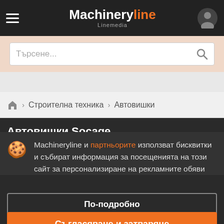Machineryline Linemedia
Търсене...
Строителна техника › Автовишки
Автовишки Socage
Machineryline и партньорите използват бисквитки и събират информация за посещенията на този сайт за персонализиране на рекламните обяви
По-подробно
Съгласяване и затваряне
Автовишки Socage: 34 обяви